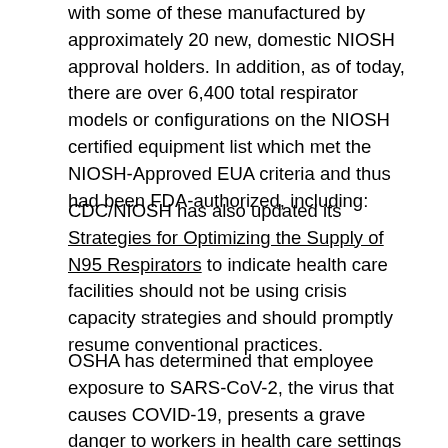with some of these manufactured by approximately 20 new, domestic NIOSH approval holders. In addition, as of today, there are over 6,400 total respirator models or configurations on the NIOSH certified equipment list which met the NIOSH-Approved EUA criteria and thus had been FDA-authorized, including:
CDC/NIOSH has also updated its Strategies for Optimizing the Supply of N95 Respirators to indicate health care facilities should not be using crisis capacity strategies and should promptly resume conventional practices.
OSHA has determined that employee exposure to SARS-CoV-2, the virus that causes COVID-19, presents a grave danger to workers in health care settings where people with suspected or confirmed COVID-19 are reasonably expected to be present. This determination resulted in publication of the ETS, which requires health